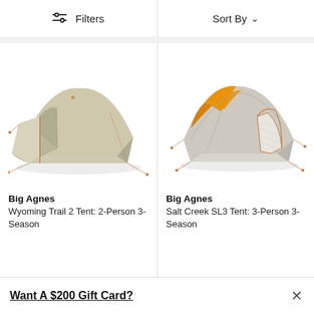Filters  |  Sort By
[Figure (photo): Big Agnes Wyoming Trail 2 Tent: a tan/beige dome tent with vestibule, shown from an angle, 2-person 3-season camping tent.]
Big Agnes
Wyoming Trail 2 Tent: 2-Person 3-Season
[Figure (photo): Big Agnes Salt Creek SL3 Tent: a gray and orange dome tent with mesh panels, shown from an angle, 3-person 3-season camping tent.]
Big Agnes
Salt Creek SL3 Tent: 3-Person 3-Season
Want A $200 Gift Card?